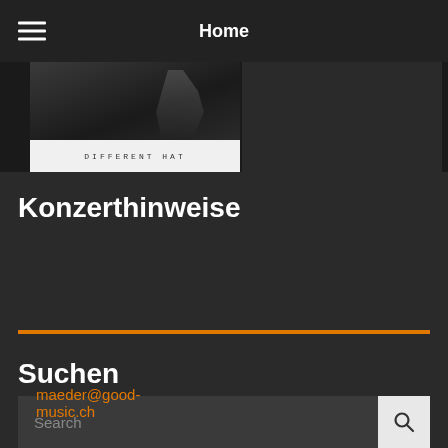Home
[Figure (photo): Partial album cover image showing dark silhouette photograph on left, with album label 'DIFFERENT HAT' in spaced lettering on white strip below; right side shows dark gray empty area]
Konzerthinweise
Suchen
Search
maeder@good-music.ch